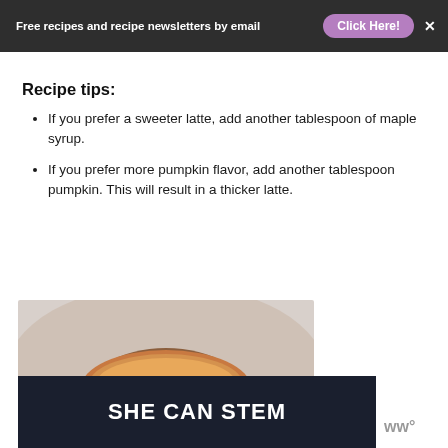Free recipes and recipe newsletters by email  Click Here!  X
Recipe tips:
If you prefer a sweeter latte, add another tablespoon of maple syrup.
If you prefer more pumpkin flavor, add another tablespoon pumpkin. This will result in a thicker latte.
[Figure (photo): Close-up photo of a pumpkin spice latte in a cup with a cinnamon stick on top, warm tones]
[Figure (logo): SHE CAN STEM dark banner with white bold text, and a WW logo to the right]